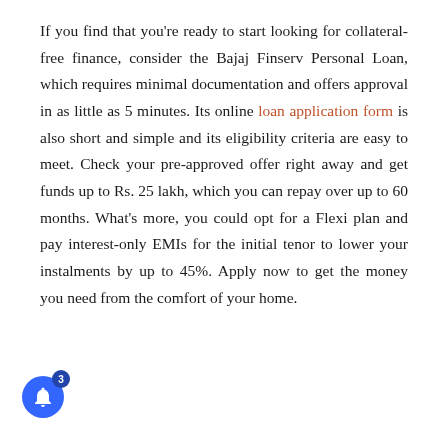If you find that you're ready to start looking for collateral-free finance, consider the Bajaj Finserv Personal Loan, which requires minimal documentation and offers approval in as little as 5 minutes. Its online loan application form is also short and simple and its eligibility criteria are easy to meet. Check your pre-approved offer right away and get funds up to Rs. 25 lakh, which you can repay over up to 60 months. What's more, you could opt for a Flexi plan and pay interest-only EMIs for the initial tenor to lower your instalments by up to 45%. Apply now to get the money you need from the comfort of your home.
[Figure (screenshot): Advertisement banner for Bajaj Finserv with dark blue background showing logo and 'Avail' text, with 'OPEN AND TRANSPARENT' text at bottom, overlaid with a news notification popup showing 'Organisers cancel pro-China seminar amid row' posted 8 hours ago, and a bell notification icon with badge count 3.]